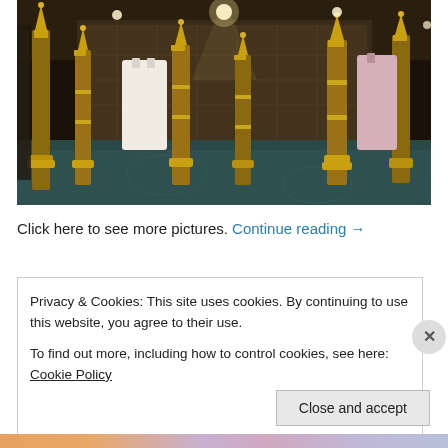[Figure (photo): Interior of a luxury boutique clothing store featuring tall golden decorative pillars/candlestick-style stands, elegant garments hanging on display, dark patterned walls, and a teal/dark blue floor with floral motifs. Dramatic lighting from ceiling spotlights.]
Click here to see more pictures. Continue reading →
Privacy & Cookies: This site uses cookies. By continuing to use this website, you agree to their use.
To find out more, including how to control cookies, see here: Cookie Policy